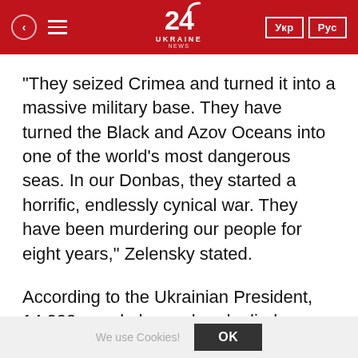24 UKRAINE NEWS | Укр | Рус
"They seized Crimea and turned it into a massive military base. They have turned the Black and Azov Oceans into one of the world's most dangerous seas. In our Donbas, they started a horrific, endlessly cynical war. They have been murdering our people for eight years," Zelensky stated.
According to the Ukrainian President, 14,000 people have already died as a result of Russian aggression.
We use Cookies! | OK